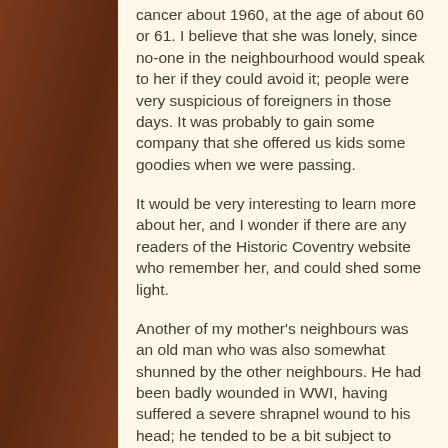cancer about 1960, at the age of about 60 or 61. I believe that she was lonely, since no-one in the neighbourhood would speak to her if they could avoid it; people were very suspicious of foreigners in those days. It was probably to gain some company that she offered us kids some goodies when we were passing.
It would be very interesting to learn more about her, and I wonder if there are any readers of the Historic Coventry website who remember her, and could shed some light.
Another of my mother's neighbours was an old man who was also somewhat shunned by the other neighbours. He had been badly wounded in WWI, having suffered a severe shrapnel wound to his head; he tended to be a bit subject to mood changes, and people clearly found that off-putting. When I